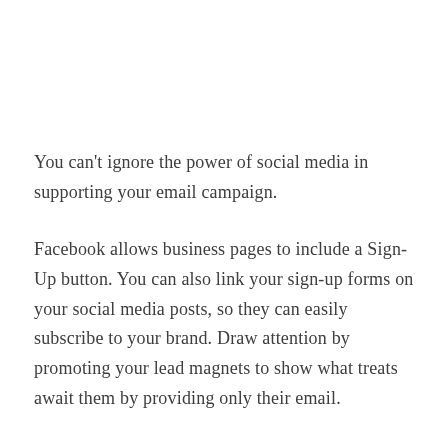You can't ignore the power of social media in supporting your email campaign.
Facebook allows business pages to include a Sign-Up button. You can also link your sign-up forms on your social media posts, so they can easily subscribe to your brand. Draw attention by promoting your lead magnets to show what treats await them by providing only their email.